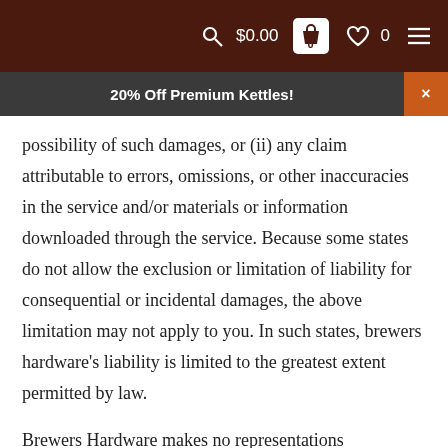$0.00  0  0
20% Off Premium Kettles!
possibility of such damages, or (ii) any claim attributable to errors, omissions, or other inaccuracies in the service and/or materials or information downloaded through the service. Because some states do not allow the exclusion or limitation of liability for consequential or incidental damages, the above limitation may not apply to you. In such states, brewers hardware's liability is limited to the greatest extent permitted by law.
Brewers Hardware makes no representations whatsoever about any other web site which you may access through this one or which may link to this Site. When you access a non-Brewers Hardware Web site, please understand that it is